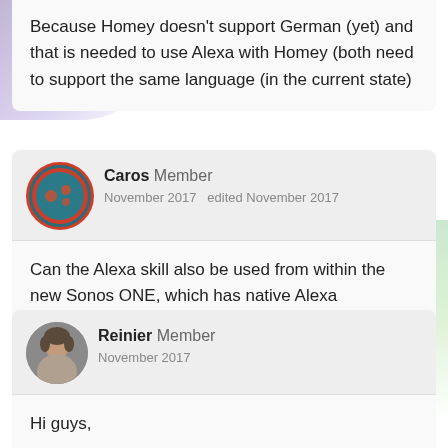Because Homey doesn't support German (yet) and that is needed to use Alexa with Homey (both need to support the same language (in the current state)
Caros Member
November 2017   edited November 2017
Can the Alexa skill also be used from within the new Sonos ONE, which has native Alexa integration? Or does Sonos has anything 'in between'?
Reinier Member
November 2017
Hi guys,

I've got some bad news. For the past couple of